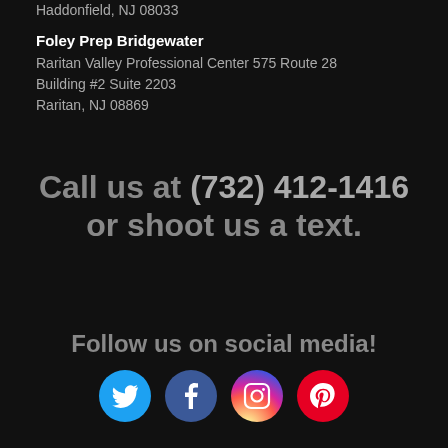Haddonfield, NJ 08033
Foley Prep Bridgewater
Raritan Valley Professional Center 575 Route 28
Building #2 Suite 2203
Raritan, NJ 08869
Call us at (732) 412-1416 or shoot us a text.
Follow us on social media!
[Figure (illustration): Social media icons: Twitter (blue bird), Facebook (blue f), Instagram (gradient camera), Pinterest (red P)]